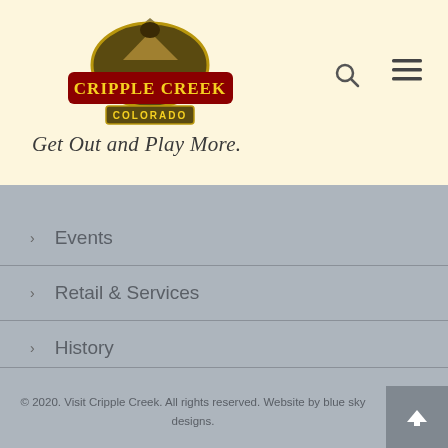[Figure (logo): Cripple Creek Colorado logo with mountain and rider silhouette, red and gold badge style text]
Get Out and Play More.
Events
Retail & Services
History
Explore More
Contact
© 2020. Visit Cripple Creek. All rights reserved. Website by blue sky designs.